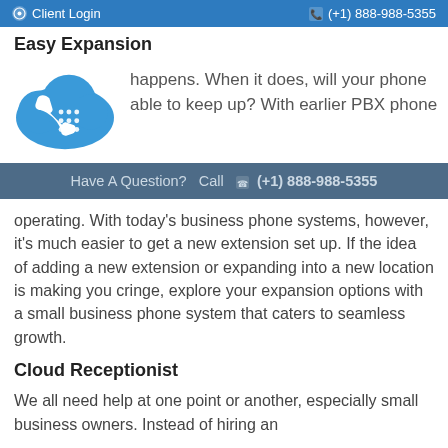Client Login   (+1) 888-988-5355
Easy Expansion
[Figure (illustration): Blue cloud with a telephone handset and grid dots icon]
happens. When it does, will your phone able to keep up? With earlier PBX phone
Have A Question?  Call (+1) 888-988-5355
operating. With today's business phone systems, however, it's much easier to get a new extension set up. If the idea of adding a new extension or expanding into a new location is making you cringe, explore your expansion options with a small business phone system that caters to seamless growth.
Cloud Receptionist
We all need help at one point or another, especially small business owners. Instead of hiring an